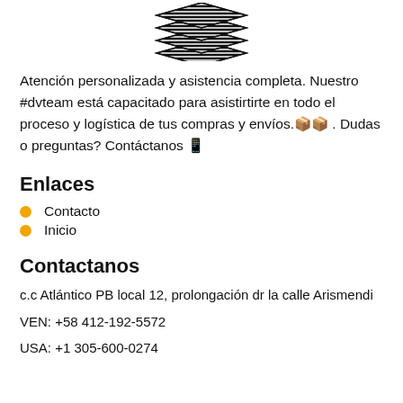[Figure (logo): Stacked layered diamond/book logo in black and white stripes]
Atención personalizada y asistencia completa. Nuestro #dvteam está capacitado para asistirtirte en todo el proceso y logística de tus compras y envíos.🧱🧱 . Dudas o preguntas? Contáctanos 📱
Enlaces
Contacto
Inicio
Contactanos
c.c Atlántico PB local 12, prolongación dr la calle Arismendi
VEN: +58 412-192-5572
USA: +1 305-600-0274